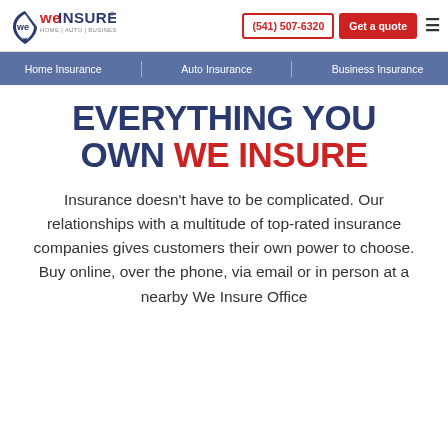We Insure - Home | Auto | Business — (541) 507-6320 — Get a quote
Home Insurance | Auto Insurance | Business Insurance
EVERYTHING YOU OWN WE INSURE
Insurance doesn't have to be complicated. Our relationships with a multitude of top-rated insurance companies gives customers their own power to choose. Buy online, over the phone, via email or in person at a nearby We Insure Office